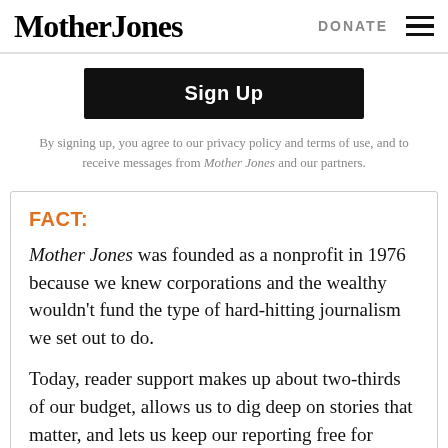Mother Jones   DONATE
Sign Up
By signing up, you agree to our privacy policy and terms of use, and to receive messages from Mother Jones and our partners.
FACT:
Mother Jones was founded as a nonprofit in 1976 because we knew corporations and the wealthy wouldn't fund the type of hard-hitting journalism we set out to do.
Today, reader support makes up about two-thirds of our budget, allows us to dig deep on stories that matter, and lets us keep our reporting free for everyone. If you value what